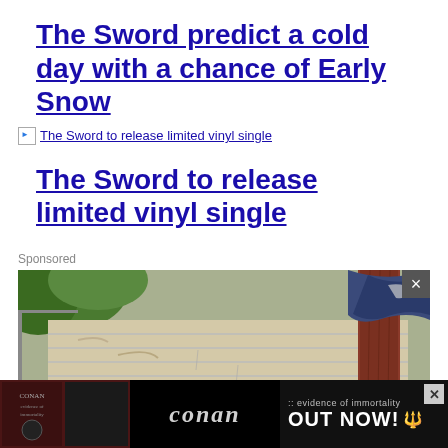The Sword predict a cold day with a chance of Early Snow
The Sword to release limited vinyl single
The Sword to release limited vinyl single
Sponsored
[Figure (photo): A photo of deteriorating house siding, showing peeling paint on white/tan horizontal panels with a rusty brown wooden post and a dark blue fabric draped over the top right corner. Leafy tree visible in background on left.]
[Figure (other): Bottom advertising banner with black background showing Conan band logo in gothic lettering, text reading 'evidence of immortality' and 'OUT NOW!' with a close X button]